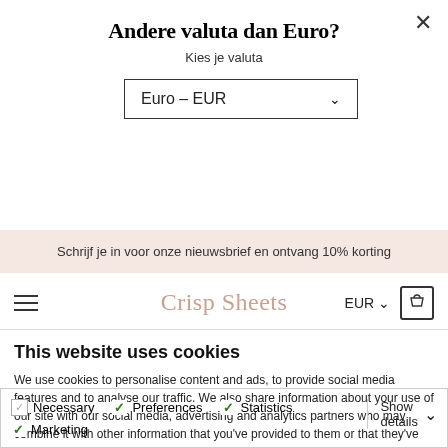Andere valuta dan Euro?
Kies je valuta
[Figure (screenshot): Dropdown selector showing 'Euro – EUR' with a downward arrow]
Schrijf je in voor onze nieuwsbrief en ontvang 10% korting
[Figure (screenshot): Website header with hamburger menu, Crisp Sheets logo in rose/salmon color, EUR currency selector, and shopping bag icon]
This website uses cookies
We use cookies to personalise content and ads, to provide social media features and to analyse our traffic. We also share information about your use of our site with our social media, advertising and analytics partners who may combine it with other information that you've provided to them or that they've collected from your use of their services. You consent to our cookies if you continue to use our website.
OK
Necessary  Preferences  Statistics  Marketing  Show details